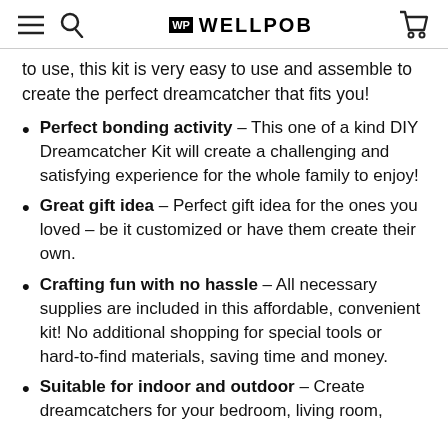WELLPOB
to use, this kit is very easy to use and assemble to create the perfect dreamcatcher that fits you!
Perfect bonding activity – This one of a kind DIY Dreamcatcher Kit will create a challenging and satisfying experience for the whole family to enjoy!
Great gift idea – Perfect gift idea for the ones you loved – be it customized or have them create their own.
Crafting fun with no hassle – All necessary supplies are included in this affordable, convenient kit! No additional shopping for special tools or hard-to-find materials, saving time and money.
Suitable for indoor and outdoor – Create dreamcatchers for your bedroom, living room,